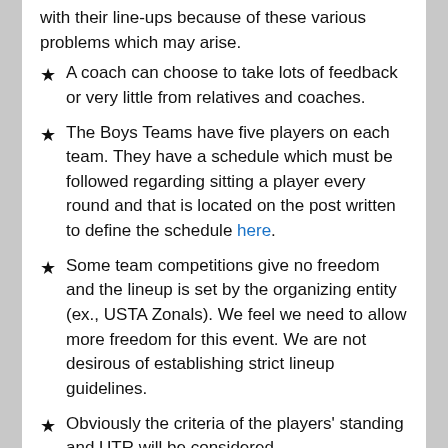with their line-ups because of these various problems which may arise.
A coach can choose to take lots of feedback or very little from relatives and coaches.
The Boys Teams have five players on each team. They have a schedule which must be followed regarding sitting a player every round and that is located on the post written to define the schedule here.
Some team competitions give no freedom and the lineup is set by the organizing entity (ex., USTA Zonals). We feel we need to allow more freedom for this event. We are not desirous of establishing strict lineup guidelines.
Obviously the criteria of the players' standing and UTR will be considered.